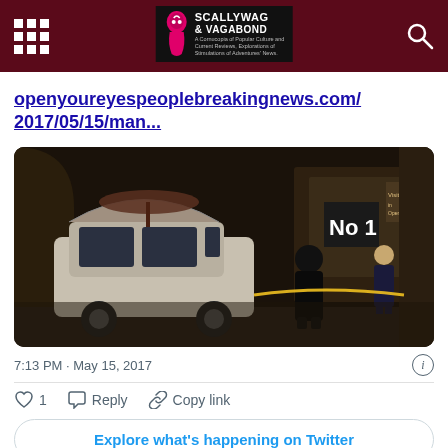Scallywag & Vagabond
openyoureyespeoplebreakingnews.com/2017/05/15/man...
[Figure (photo): Crime scene photo: police tape outside a store at night, a person in dark clothing and an officer standing near a white SUV]
7:13 PM · May 15, 2017
1  Reply  Copy link
Explore what's happening on Twitter